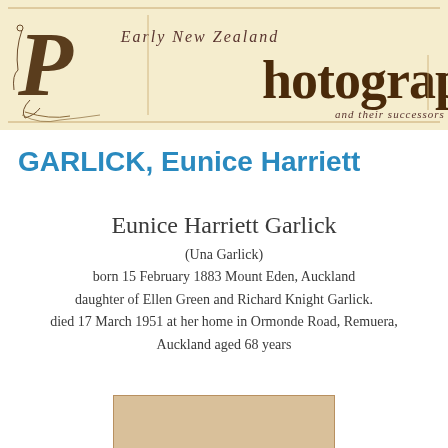[Figure (illustration): Early New Zealand Photographers and their successors website header banner with ornate calligraphic lettering on a cream/beige background]
GARLICK, Eunice Harriett
Eunice Harriett Garlick
(Una Garlick)
born 15 February 1883 Mount Eden, Auckland
daughter of Ellen Green and Richard Knight Garlick.
died 17 March 1951 at her home in Ormonde Road, Remuera, Auckland aged 68 years
[Figure (photo): Partial photograph visible at bottom of page, appears to be a portrait photo with warm beige/sepia tones]